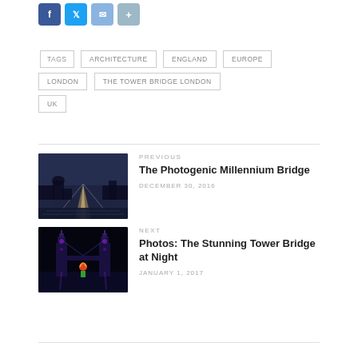[Figure (other): Social sharing icons: Facebook (blue), Twitter (light blue), Email (blue), Share (grey-blue)]
TAGS
ARCHITECTURE
ENGLAND
EUROPE
LONDON
THE TOWER BRIDGE LONDON
UK
PREVIOUS
The Photogenic Millennium Bridge
DECEMBER 30, 2016
NEXT
Photos: The Stunning Tower Bridge at Night
JANUARY 1, 2017